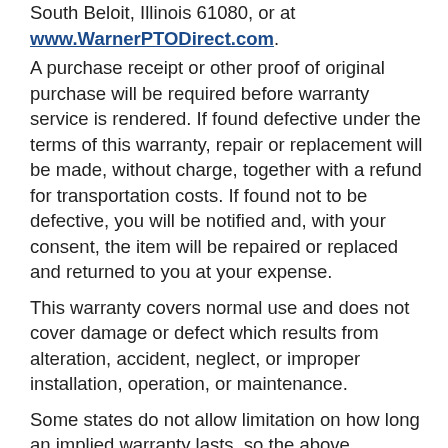South Beloit, Illinois 61080, or at
www.WarnerPTODirect.com.
A purchase receipt or other proof of original purchase will be required before warranty service is rendered. If found defective under the terms of this warranty, repair or replacement will be made, without charge, together with a refund for transportation costs. If found not to be defective, you will be notified and, with your consent, the item will be repaired or replaced and returned to you at your expense.
This warranty covers normal use and does not cover damage or defect which results from alteration, accident, neglect, or improper installation, operation, or maintenance.
Some states do not allow limitation on how long an implied warranty lasts, so the above limitation may not apply to you.
Warner Electric LLC's obligation under this warranty is